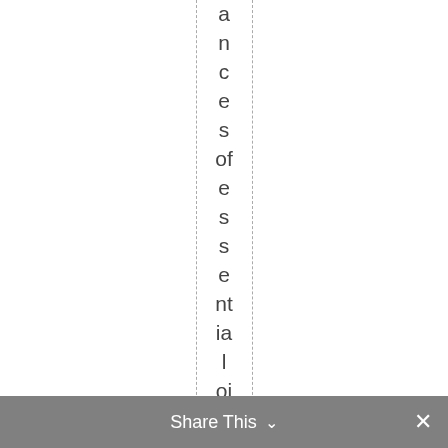ances of essential oils and a huge r a
Share This ∨ ×